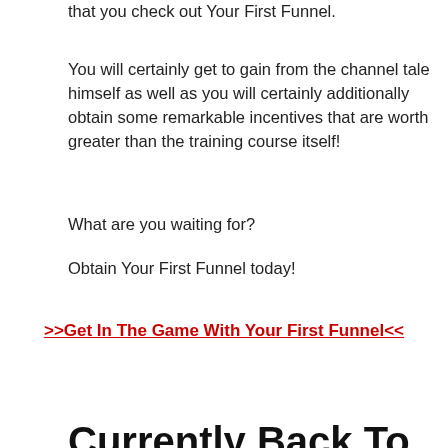that you check out Your First Funnel.
You will certainly get to gain from the channel tale himself as well as you will certainly additionally obtain some remarkable incentives that are worth greater than the training course itself!
What are you waiting for?
Obtain Your First Funnel today!
>>Get In The Game With Your First Funnel<<
Currently Back To You: Get In The Game